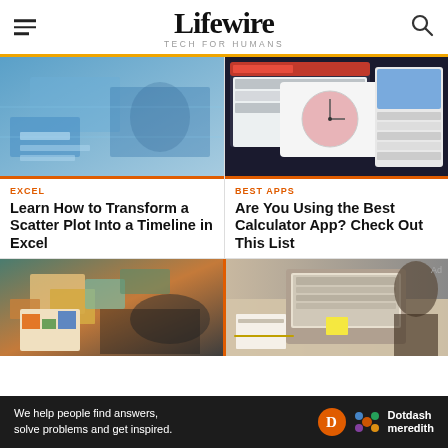Lifewire — TECH FOR HUMANS
[Figure (photo): Blue-tinted photo of a person working at a computer with data visualizations]
EXCEL
Learn How to Transform a Scatter Plot Into a Timeline in Excel
[Figure (screenshot): Screenshot of calculator apps on various devices including tablet and phone]
BEST APPS
Are You Using the Best Calculator App? Check Out This List
[Figure (photo): Photo of people looking at colorful charts and documents on a table]
[Figure (photo): Photo of a person working at a desk with a laptop]
Ad
We help people find answers, solve problems and get inspired. Dotdash meredith